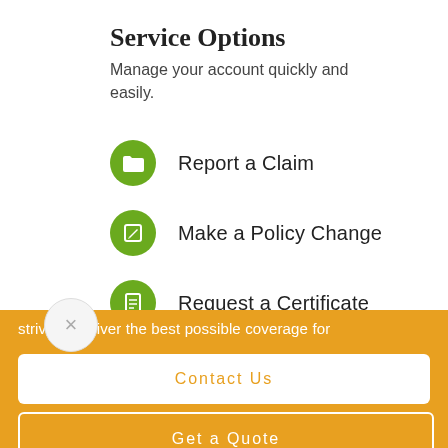Service Options
Manage your account quickly and easily.
Report a Claim
Make a Policy Change
Request a Certificate
strive to deliver the best possible coverage for
Contact Us
Get a Quote